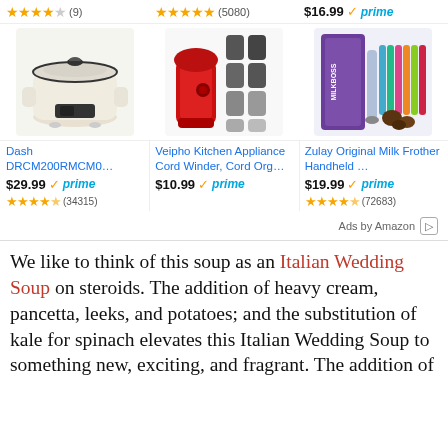[Figure (screenshot): Amazon product ad grid showing 3 products. Top row: partial ratings row. Second row: product images (rice cooker, KitchenAid cord winder accessories, Zulay Milk Frother). Third row: product titles and prices with Prime badge and star ratings.]
We like to think of this soup as an Italian Wedding Soup on steroids. The addition of heavy cream, pancetta, leeks, and potatoes; and the substitution of kale for spinach elevates this Italian Wedding Soup to something new, exciting, and fragrant. The addition of